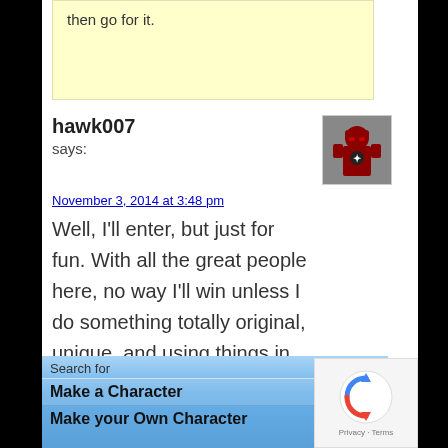then go for it.
hawk007 says:
November 3, 2014 at 3:48 pm
Well, I'll enter, but just for fun. With all the great people here, no way I'll win unless I do something totally original, unique, and using things in imaginative ways, none of which I'm good at. Still, it's be fun to see all the
[Figure (photo): User avatar showing a character in red and black costume]
Search for
Make a Character
Make your Own Character